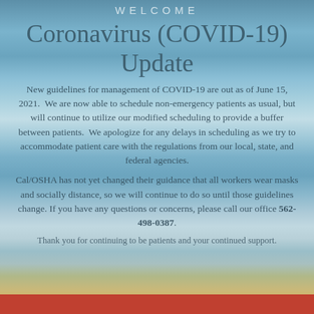WELCOME
Coronavirus (COVID-19) Update
New guidelines for management of COVID-19 are out as of June 15, 2021.  We are now able to schedule non-emergency patients as usual, but will continue to utilize our modified scheduling to provide a buffer between patients.  We apologize for any delays in scheduling as we try to accommodate patient care with the regulations from our local, state, and federal agencies.
Cal/OSHA has not yet changed their guidance that all workers wear masks and socially distance, so we will continue to do so until those guidelines change. If you have any questions or concerns, please call our office 562-498-0387.
Thank you for continuing to be patients and your continued support.